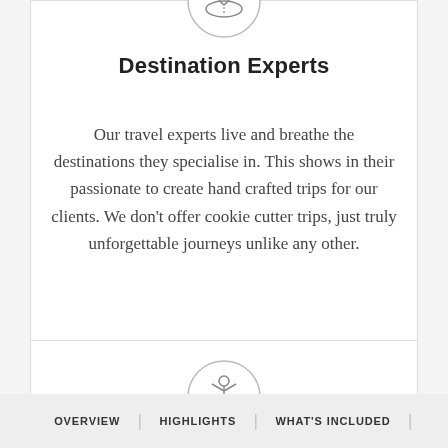[Figure (illustration): Circular icon with a destination/map pin and road illustration, inside a thin circle outline]
Destination Experts
Our travel experts live and breathe the destinations they specialise in. This shows in their passionate to create hand crafted trips for our clients. We don't offer cookie cutter trips, just truly unforgettable journeys unlike any other.
[Figure (illustration): Circular icon with a person/guide figure raising arms, inside a thin circle outline]
OVERVIEW | HIGHLIGHTS | WHAT'S INCLUDED |